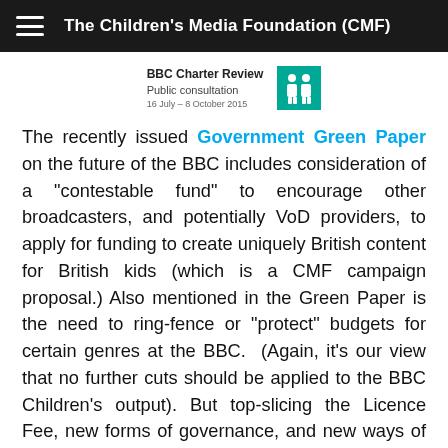The Children's Media Foundation (CMF)
[Figure (logo): BBC Charter Review Public consultation logo with two figures icon, dated 16 July – 8 October 2015]
The recently issued Government Green Paper on the future of the BBC includes consideration of a "contestable fund" to encourage other broadcasters, and potentially VoD providers, to apply for funding to create uniquely British content for British kids (which is a CMF campaign proposal.) Also mentioned in the Green Paper is the need to ring-fence or "protect" budgets for certain genres at the BBC.  (Again, it's our view that no further cuts should be applied to the BBC Children's output). But top-slicing the Licence Fee, new forms of governance, and new ways of looking at production and quotas are also under consideration and these could have huge impacts on the children's audience.